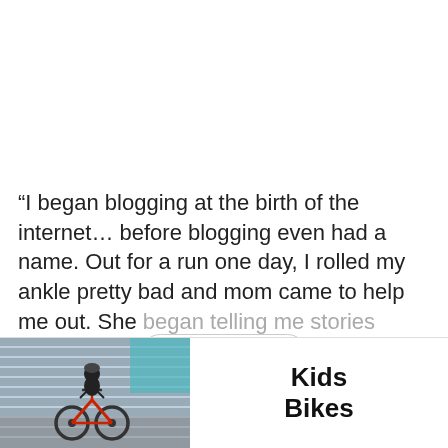“I began blogging at the birth of the internet… before blogging even had a name. Out for a run one day, I rolled my ankle pretty bad and mom came to help me out. She began telling me stories about Scotland to take my mind off
Read More
[Figure (other): Navigation bar with Previous and Next post arrows, and a scroll-to-top circular button]
[Figure (photo): Advertisement banner showing a child riding a BMX bike with text 'Kids Bikes']